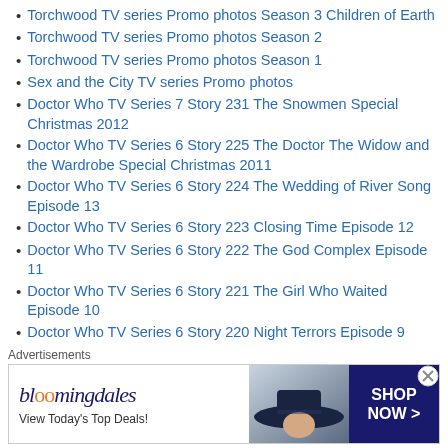Torchwood TV series Promo photos Season 3 Children of Earth
Torchwood TV series Promo photos Season 2
Torchwood TV series Promo photos Season 1
Sex and the City TV series Promo photos
Doctor Who TV Series 7 Story 231 The Snowmen Special Christmas 2012
Doctor Who TV Series 6 Story 225 The Doctor The Widow and the Wardrobe Special Christmas 2011
Doctor Who TV Series 6 Story 224 The Wedding of River Song Episode 13
Doctor Who TV Series 6 Story 223 Closing Time Episode 12
Doctor Who TV Series 6 Story 222 The God Complex Episode 11
Doctor Who TV Series 6 Story 221 The Girl Who Waited Episode 10
Doctor Who TV Series 6 Story 220 Night Terrors Episode 9
Doctor Who TV Series 6 Story 219 Lets Kill Hitler Episode 8
Doctor Who TV Series 6 Story 218 A Good Man Goes to War Episode
Advertisements
[Figure (other): Bloomingdales advertisement banner with hat image and SHOP NOW button]